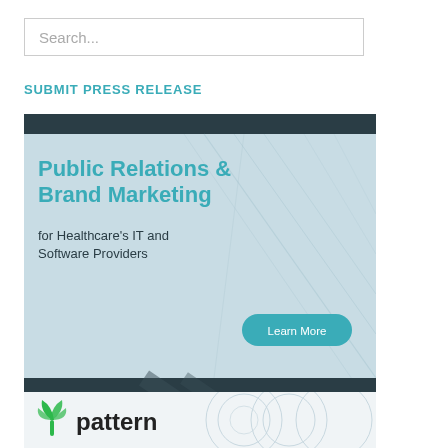Search...
SUBMIT PRESS RELEASE
[Figure (illustration): Advertisement banner for millerrupp: Public Relations & Brand Marketing for Healthcare's IT and Software Providers, with a Learn More button, on a dark teal and light blue architectural background.]
[Figure (logo): Pattern logo with green leaf icon and the word 'pattern' in dark text, with decorative circular patterns on the right.]